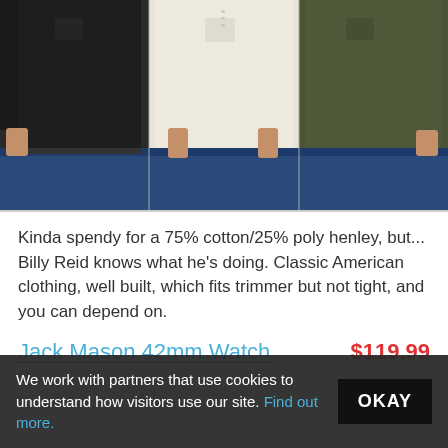[Figure (photo): Three men wearing long-sleeve henley shirts in black, cream/white, and olive green colors, each paired with blue jeans. Only torsos visible.]
Kinda spendy for a 75% cotton/25% poly henley, but... Billy Reid knows what he's doing. Classic American clothing, well built, which fits trimmer but not tight, and you can depend on.
Jack Mason 42mm Watch   $119.99
We work with partners that use cookies to understand how visitors use our site. Find out more.